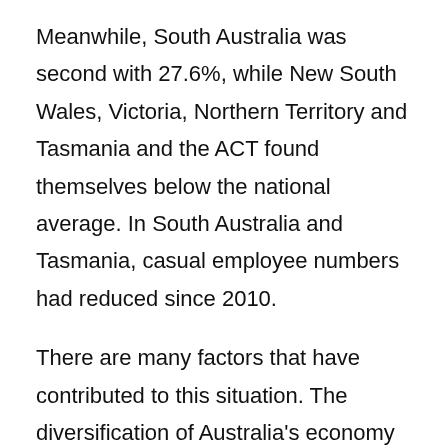Meanwhile, South Australia was second with 27.6%, while New South Wales, Victoria, Northern Territory and Tasmania and the ACT found themselves below the national average. In South Australia and Tasmania, casual employee numbers had reduced since 2010.
There are many factors that have contributed to this situation. The diversification of Australia's economy — and a gradual movement away from the primary and secondary industry in favour of tertiary or even quaternary industries — has led to a more dynamic workforce. Casual employees are simply in higher demand in fields such as hospitality and social assistance than they are in mining or manufacturing —